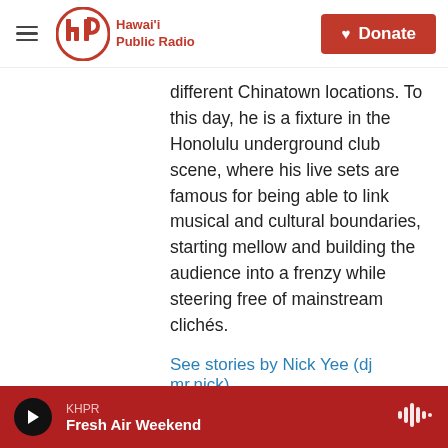Hawaii Public Radio | Donate
different Chinatown locations. To this day, he is a fixture in the Honolulu underground club scene, where his live sets are famous for being able to link musical and cultural boundaries, starting mellow and building the audience into a frenzy while steering free of mainstream clichés.
See stories by Nick Yee (dj mr.nick)
[Figure (other): Green banner with text 'Engage your Mind,']
KHPR Fresh Air Weekend